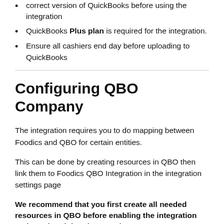correct version of QuickBooks before using the integration
QuickBooks Plus plan is required for the integration.
Ensure all cashiers end day before uploading to QuickBooks
Configuring QBO Company
The integration requires you to do mapping between Foodics and QBO for certain entities.
This can be done by creating resources in QBO then link them to Foodics QBO Integration in the integration settings page
We recommend that you first create all needed resources in QBO before enabling the integration and starting doing the mapping